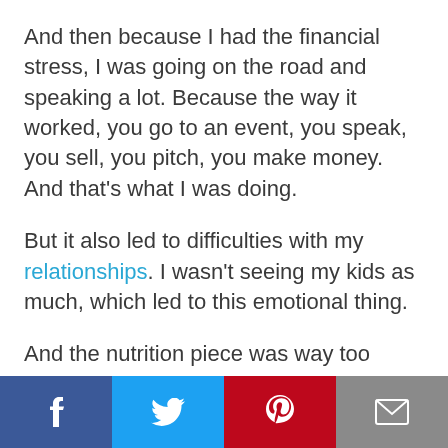And then because I had the financial stress, I was going on the road and speaking a lot. Because the way it worked, you go to an event, you speak, you sell, you pitch, you make money. And that's what I was doing.
But it also led to difficulties with my relationships. I wasn't seeing my kids as much, which led to this emotional thing.
And the nutrition piece was way too complex. I was eating a lot of crap, a lot of processed stuff.
[Figure (infographic): Social sharing bar with four buttons: Facebook (dark blue, f icon), Twitter (light blue, bird icon), Pinterest (red, p icon), Email (gray, envelope icon)]